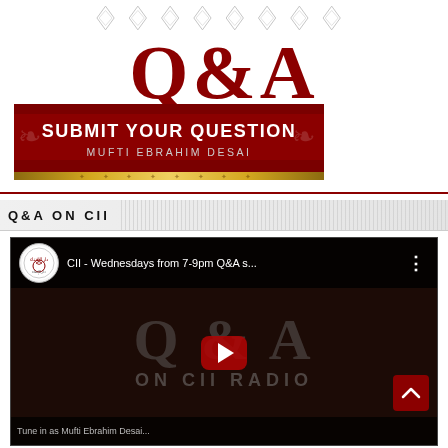[Figure (logo): Q&A logo in dark red serif font with decorative geometric pattern above]
[Figure (illustration): Dark red banner with text SUBMIT YOUR QUESTION and MUFTI EBRAHIM DESAI with gold border at bottom]
Q&A ON CII
[Figure (screenshot): YouTube video thumbnail showing Q&A ON CII RADIO with play button, channel icon, and title CII - Wednesdays from 7-9pm Q&A s...]